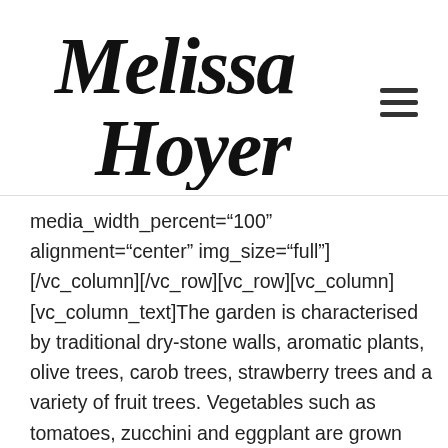[Figure (logo): Melissa Hoyer handwritten script logo in black]
media_width_percent="100" alignment="center" img_size="full"][/vc_column][/vc_row][vc_row][vc_column][vc_column_text]The garden is characterised by traditional dry-stone walls, aromatic plants, olive trees, carob trees, strawberry trees and a variety of fruit trees. Vegetables such as tomatoes, zucchini and eggplant are grown without using fertilisers and chemical pesticides. These vegetables form the basis of many a local delicacy such as Coniglio all'Ischitana (Ischian Rabbit Stew), seafood dishes and pizza.